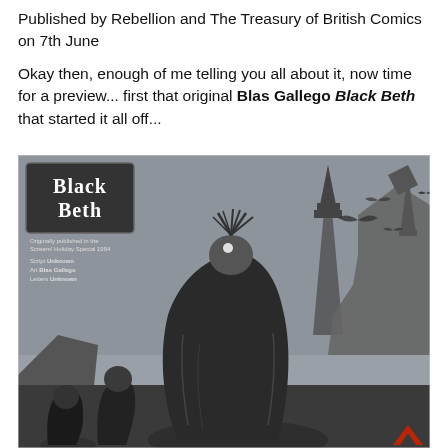Published by Rebellion and The Treasury of British Comics on 7th June
Okay then, enough of me telling you all about it, now time for a preview... first that original Blas Gallego Black Beth that started it all off...
[Figure (illustration): Black and white comic book cover/page for 'Black Beth' originally published in the Scream! Holiday Special 1984. Script: Unknown, Art: Blas Gallego, Letters: Unknown. Shows a cloaked figure with wild hair viewed from behind, standing before rocky castle spires with bats flying in a grey sky. Two smaller hooded figures visible at lower left. A red logo watermark appears at bottom right.]